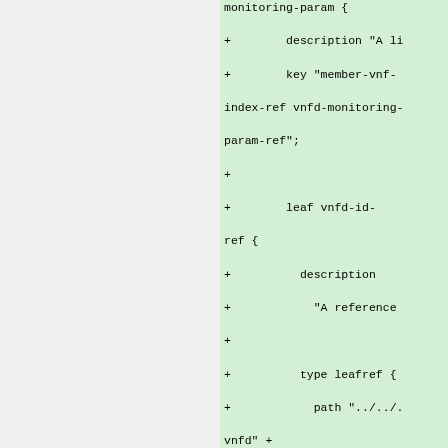[Figure (screenshot): Code diff snippet showing YANG model additions for vnfd-monitoring-param, including description, key, leaf vnfd-id-ref with type leafref and path expressions, and leaf vnfd-monitoring-param-ref.]